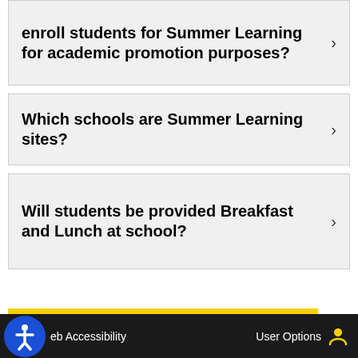enroll students for Summer Learning for academic promotion purposes?
Which schools are Summer Learning sites?
Will students be provided Breakfast and Lunch at school?
Web Accessibility   User Options